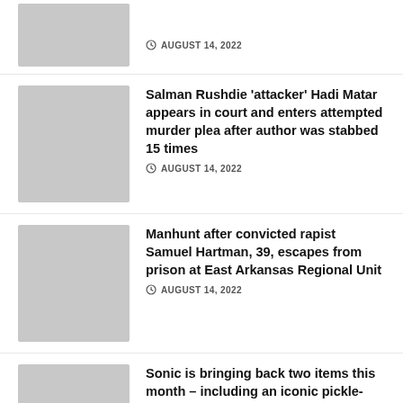[Figure (photo): Gray placeholder thumbnail image for first news item (partial, cropped at top)]
AUGUST 14, 2022
[Figure (photo): Gray placeholder thumbnail image for Salman Rushdie news item]
Salman Rushdie ‘attacker’ Hadi Matar appears in court and enters attempted murder plea after author was stabbed 15 times
AUGUST 14, 2022
[Figure (photo): Gray placeholder thumbnail image for Samuel Hartman news item]
Manhunt after convicted rapist Samuel Hartman, 39, escapes from prison at East Arkansas Regional Unit
AUGUST 14, 2022
[Figure (photo): Gray placeholder thumbnail image for Sonic news item]
Sonic is bringing back two items this month – including an iconic pickle-style drink